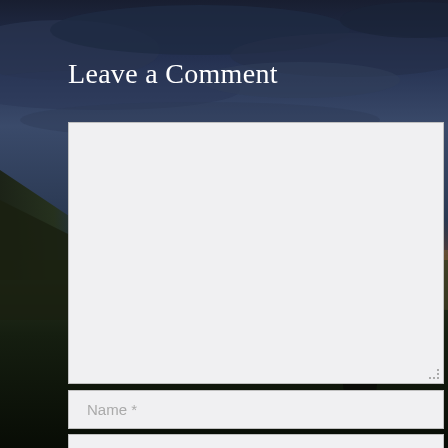[Figure (photo): Scenic landscape background showing a dramatic sunset or dusk sky with dark clouds, a coastal clifftop scene on the left, and a golden/orange sun setting over water on the right.]
Leave a Comment
[Comment text area - empty input field]
Name *
Email *